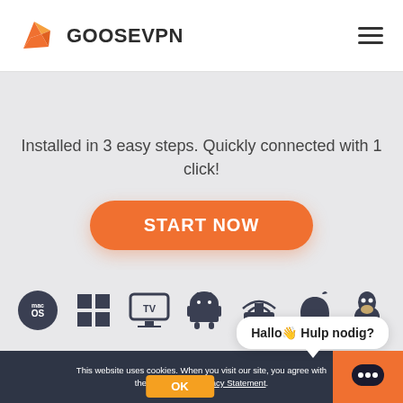GOOSEVPN
Installed in 3 easy steps. Quickly connected with 1 click!
[Figure (other): Orange rounded rectangle START NOW button]
[Figure (other): Row of platform icons: macOS, Windows, TV, Android, Router/WiFi, Apple, Linux]
Hallo👋 Hulp nodig?
This website uses cookies. When you visit our site, you agree with the terms in our Privacy Statement.
[Figure (other): Orange OK button and chat icon orange square]